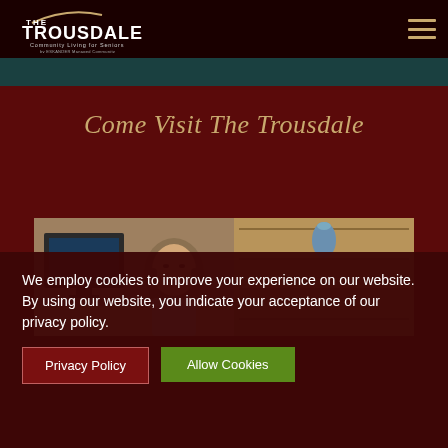THE TROUSDALE Community Living for Seniors by ESKANDER Managed Community
Come Visit The Trousdale
[Figure (photo): A smiling woman at a reception desk with a wooden shelving unit and blue vase in the background]
We employ cookies to improve your experience on our website. By using our website, you indicate your acceptance of our privacy policy.
Privacy Policy   Allow Cookies